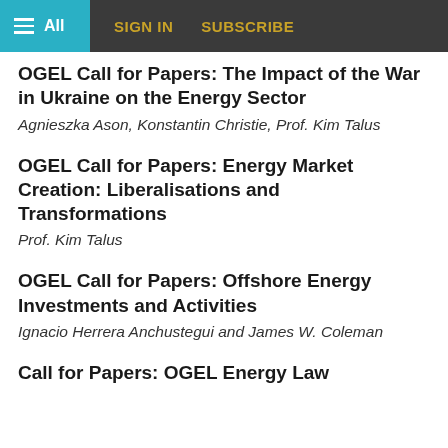≡ All   SIGN IN   SUBSCRIBE
OGEL Call for Papers: The Impact of the War in Ukraine on the Energy Sector
Agnieszka Ason, Konstantin Christie, Prof. Kim Talus
OGEL Call for Papers: Energy Market Creation: Liberalisations and Transformations
Prof. Kim Talus
OGEL Call for Papers: Offshore Energy Investments and Activities
Ignacio Herrera Anchustegui and James W. Coleman
Call for Papers: OGEL Energy Law